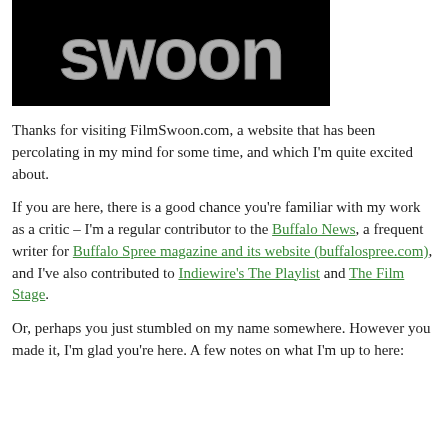[Figure (logo): Black background with large grey textured lowercase text reading 'swoon']
Thanks for visiting FilmSwoon.com, a website that has been percolating in my mind for some time, and which I'm quite excited about.
If you are here, there is a good chance you're familiar with my work as a critic – I'm a regular contributor to the Buffalo News, a frequent writer for Buffalo Spree magazine and its website (buffalospree.com), and I've also contributed to Indiewire's The Playlist and The Film Stage.
Or, perhaps you just stumbled on my name somewhere. However you made it, I'm glad you're here. A few notes on what I'm up to here: